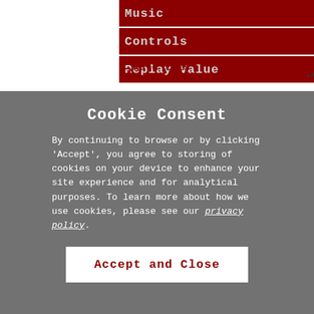Music
Controls
Replay Value
□ Rate this ROM   □ Play ROM   ↵
Cookie Consent
By continuing to browse or by clicking 'Accept', you agree to storing of cookies on your device to enhance your site experience and for analytical purposes. To learn more about how we use cookies, please see our privacy policy.
Accept and Close